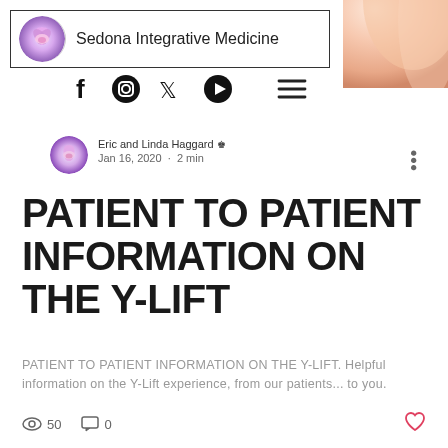Sedona Integrative Medicine
[Figure (logo): Sedona Integrative Medicine logo with lotus flower icon and brand name in bordered box]
[Figure (photo): Close-up photo of woman's neck and shoulder skin in upper right corner]
[Figure (infographic): Social media icons: Facebook, Instagram, Twitter, YouTube, and hamburger menu]
Eric and Linda Haggard Admin
Jan 16, 2020 · 2 min
PATIENT TO PATIENT INFORMATION ON THE Y-LIFT
PATIENT TO PATIENT INFORMATION ON THE Y-LIFT. Helpful information on the Y-Lift experience, from our patients... to you.
👁 50   💬 0   ♡